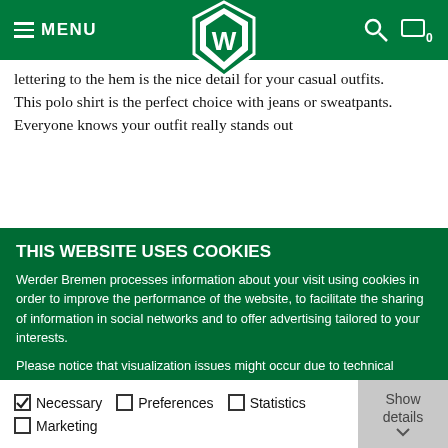MENU [Werder Bremen logo] [search icon] [cart icon] 0
lettering to the hem is the nice detail for your casual outfits.
This polo shirt is the perfect choice with jeans or sweatpants. Everyone knows your outfit really stands out
THIS WEBSITE USES COOKIES
Werder Bremen processes information about your visit using cookies in order to improve the performance of the website, to facilitate the sharing of information in social networks and to offer advertising tailored to your interests.
Please notice that visualization issues might occur due to technical reasons in case not all cookies are enabled.
Choose "Show Details" if you want to learn more about the cookies used on our website.
Save selection | Allow all cookies
☑ Necessary  ☐ Preferences  ☐ Statistics  ☐ Marketing  Show details